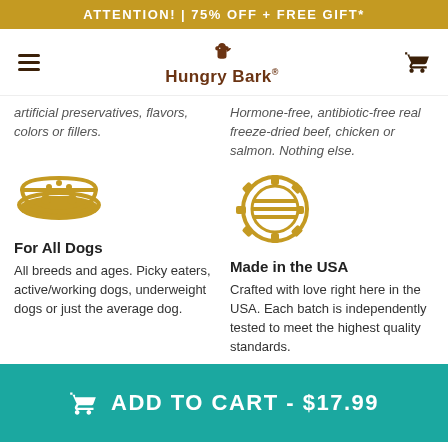ATTENTION! | 75% OFF + FREE GIFT*
[Figure (logo): Hungry Bark logo with dog icon and brand name]
artificial preservatives, flavors, colors or fillers.
Hormone-free, antibiotic-free real freeze-dried beef, chicken or salmon. Nothing else.
[Figure (illustration): Gold dog food bowl icon]
[Figure (illustration): Gold gear/cog with USA flag stripe pattern icon]
For All Dogs
All breeds and ages. Picky eaters, active/working dogs, underweight dogs or just the average dog.
Made in the USA
Crafted with love right here in the USA. Each batch is independently tested to meet the highest quality standards.
ADD TO CART - $17.99